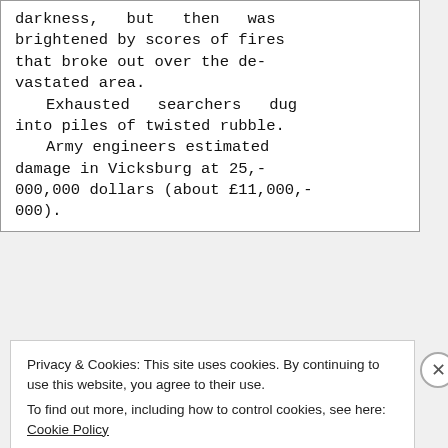darkness, but then was brightened by scores of fires that broke out over the devastated area. Exhausted searchers dug into piles of twisted rubble. Army engineers estimated damage in Vicksburg at 25,000,000 dollars (about £11,000,000).
08 Dec 1953 – City Pounded By Tornado
Privacy & Cookies: This site uses cookies. By continuing to use this website, you agree to their use. To find out more, including how to control cookies, see here: Cookie Policy